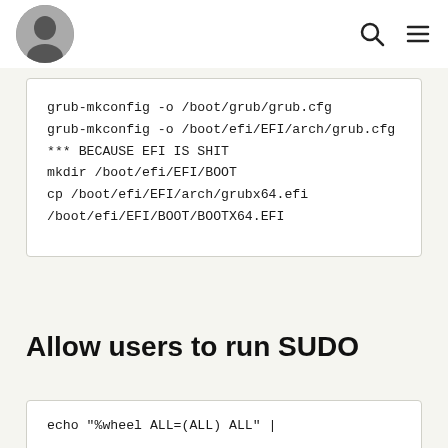[avatar icon, search icon, menu icon]
grub-mkconfig -o /boot/grub/grub.cfg
grub-mkconfig -o /boot/efi/EFI/arch/grub.cfg
*** BECAUSE EFI IS SHIT
mkdir /boot/efi/EFI/BOOT
cp /boot/efi/EFI/arch/grubx64.efi /boot/efi/EFI/BOOT/BOOTX64.EFI
Allow users to run SUDO
echo "%wheel ALL=(ALL) ALL" |